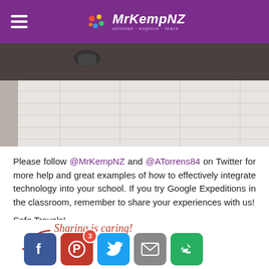MrKempNZ — site header with logo and navigation
[Figure (photo): Classroom photo showing students working on a table with papers and a tablet device being held by a hand in the foreground]
Please follow @MrKempNZ and @ATorrens84 on Twitter for more help and great examples of how to effectively integrate technology into your school. If you try Google Expeditions in the classroom, remember to share your experiences with us!
Safe Travels!
[Figure (infographic): Sharing is caring! social sharing bar with Facebook, Pinterest (3 shares), Twitter, Email, and generic share buttons]